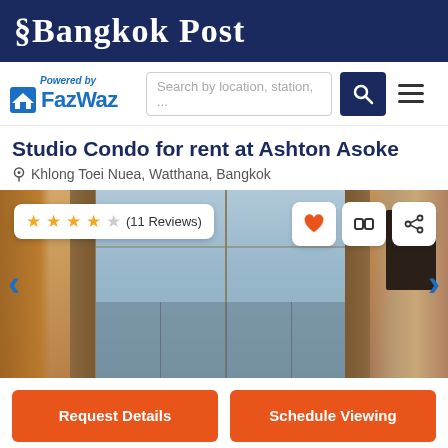Bangkok Post
[Figure (logo): FazWaz logo with 'Powered by' text above, house icon and FazWaz brand name in blue]
Search by location, station, ...
Studio Condo for rent at Ashton Asoke
Khlong Toei Nuea, Watthana, Bangkok
[Figure (photo): Interior photo of studio condo showing curtains, glass sliding doors/windows with city view, warm-toned walls]
★★★★☆ (11 Reviews)
Request Details
Schedule Viewing